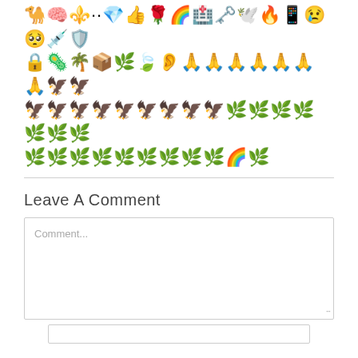[Figure (other): Rows of various emoji icons including animals, objects, faces, plants, and symbols displayed in a grid-like pattern]
Leave A Comment
Comment...